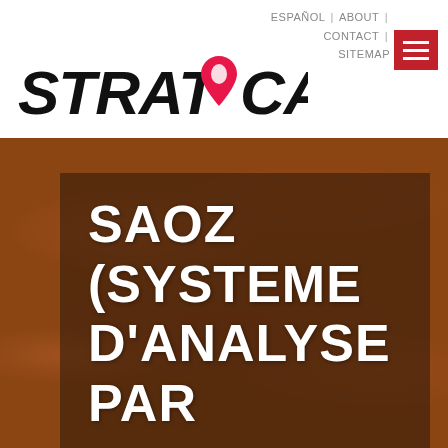ESPAÑOL | ABOUT | CONTACT | SITEMAP
[Figure (logo): StratOCat logo with stylized text STRAT and CAT with a pink/red location pin icon between them]
SAOZ (SYSTEME D'ANALYSE PAR